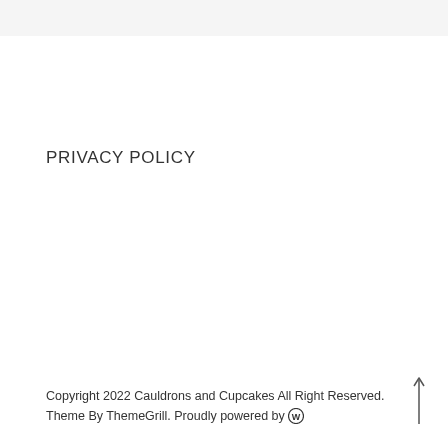PRIVACY POLICY
Copyright 2022 Cauldrons and Cupcakes All Right Reserved. Theme By ThemeGrill. Proudly powered by Ⓦ